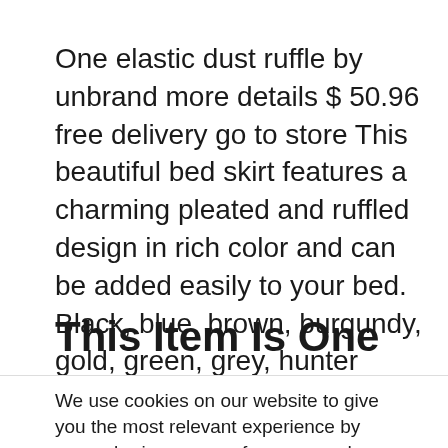One elastic dust ruffle by unbrand more details $ 50.96 free delivery go to store This beautiful bed skirt features a charming pleated and ruffled design in rich color and can be added easily to your bed. Black, blue, brown, burgundy, gold, green, grey, hunter green, ivory, lilac, navy, rose, sage,.
This Item Is One Eyelet
We use cookies on our website to give you the most relevant experience by remembering your preferences and repeat visits. By clicking “Accept”, you consent to the use of ALL the cookies.
Do not sell my personal information.